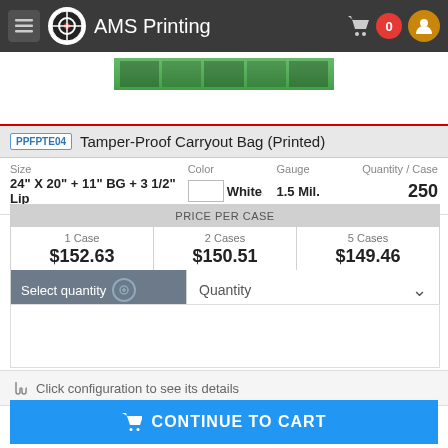AMS Printing
[Figure (screenshot): Product image area with green striped banner at top]
PPFPTE04  Tamper-Proof Carryout Bag (Printed)
| Size | Color | Gauge | Quantity / Case |
| --- | --- | --- | --- |
| 24" X 20" + 11" BG + 3 1/2" Lip | White | 1.5 Mil. | 250 |
| 1 Case | 2 Cases | 5 Cases |
| --- | --- | --- |
| $152.63 | $150.51 | $149.46 |
Select quantity   Quantity
Click configuration to see its details
CONTINUE TO CART